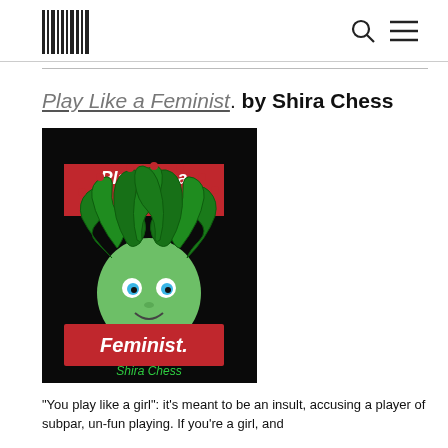LOGO | Search | Menu
Play Like a Feminist. by Shira Chess
[Figure (illustration): Book cover of 'Play Like a Feminist' by Shira Chess. Black background with a cartoon medusa character with green snake hair, blue eyes, and a gentle smile. Two red banners: top reads 'Play like a' and bottom reads 'Feminist.' Author name 'Shira Chess' in green italic text at bottom.]
"You play like a girl": it's meant to be an insult, accusing a player of subpar, un-fun playing. If you're a girl, and